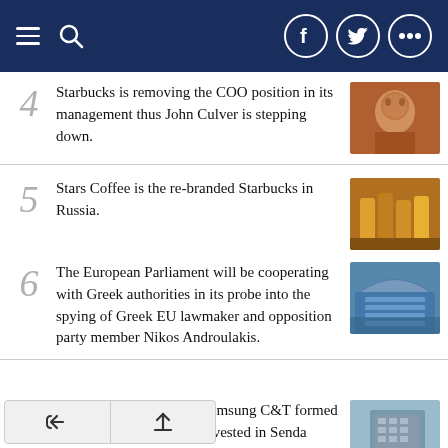Navigation header with menu, search, Facebook, Twitter, and more icons
4 Starbucks is removing the COO position in its management thus John Culver is stepping down.
5 Stars Coffee is the re-branded Starbucks in Russia.
6 The European Parliament will be cooperating with Greek authorities in its probe into the spying of Greek EU lawmaker and opposition party member Nikos Androulakis.
7 Samsung Biologics and Samsung C&T formed Life Sciences Fund and invested in Senda Biosciences for the development of next generation biopharmaceuticals.